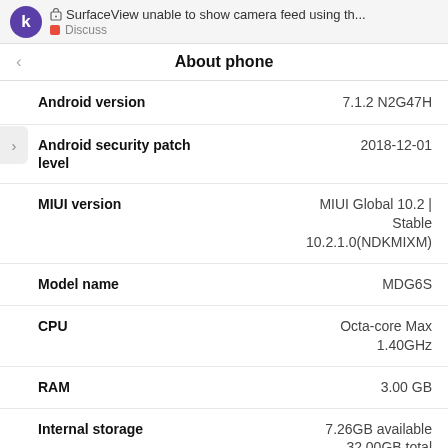SurfaceView unable to show camera feed using th... Discuss
About phone
| Field | Value |
| --- | --- |
| Android version | 7.1.2 N2G47H |
| Android security patch level | 2018-12-01 |
| MIUI version | MIUI Global 10.2 | Stable 10.2.1.0(NDKMIXM) |
| Model name | MDG6S |
| CPU | Octa-core Max 1.40GHz |
| RAM | 3.00 GB |
| Internal storage | 7.26GB available 32.00GB total |
| Baseband version | 953_GEN_PACK-1.145 737.1.184783.1 |
| Kernel version | 3.18.31-perf- ge8c6508 |
18 / 20